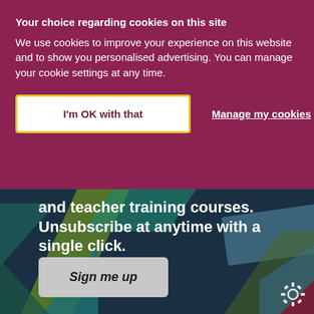Your choice regarding cookies on this site
We use cookies to improve your experience on this website and to show you personalised advertising. You can manage your cookie settings at any time.
I'm OK with that
Manage my cookies
and teacher training courses. Unsubscribe at anytime with a single click.
Sign me up